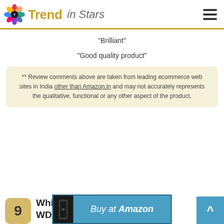Trend in Stars
"Brilliant"
"Good quality product"
** Review comments above are taken from leading ecommerce web sites in India other than Amazon.in and may not accurately represents the qualitative, functional or any other aspect of the product.
9  Whirlpool 190 litres 3 Star: WDE 205 CLS1 LCS 3S WINE